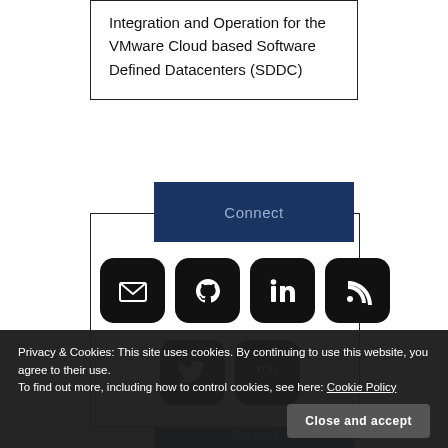Integration and Operation for the VMware Cloud based Software Defined Datacenters (SDDC)
Connect
[Figure (infographic): Social connect icons row: email, GitHub, LinkedIn, RSS; second row: Twitter/X, quotes/Goodreads]
Privacy & Cookies: This site uses cookies. By continuing to use this website, you agree to their use.
To find out more, including how to control cookies, see here: Cookie Policy
Close and accept
Support